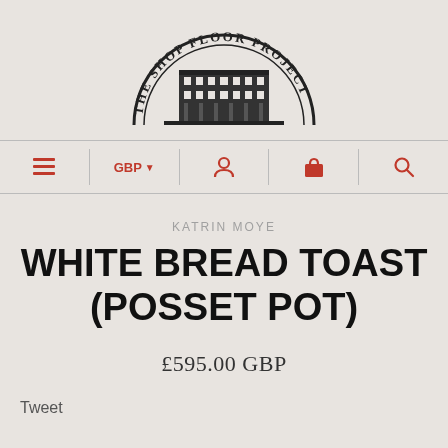[Figure (logo): The Shop Floor Project logo: semicircular arch with text 'THE SHOP FLOOR PROJECT' around a classic building illustration]
Navigation bar with hamburger menu, GBP currency selector, user icon, shopping bag icon, and search icon
KATRIN MOYE
WHITE BREAD TOAST (POSSET POT)
£595.00 GBP
Tweet